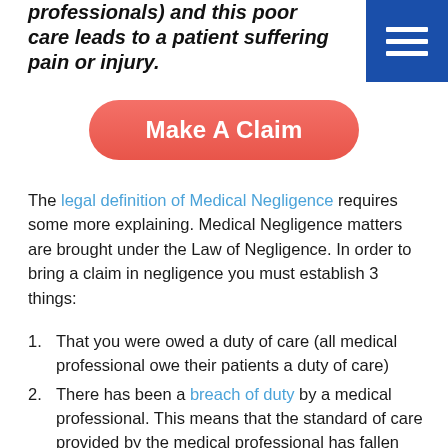professionals) and this poor care leads to a patient suffering pain or injury.
[Figure (other): Blue hamburger menu button icon with three horizontal white lines on dark blue background]
Make A Claim
The legal definition of Medical Negligence requires some more explaining. Medical Negligence matters are brought under the Law of Negligence. In order to bring a claim in negligence you must establish 3 things:
That you were owed a duty of care (all medical professional owe their patients a duty of care)
There has been a breach of duty by a medical professional. This means that the standard of care provided by the medical professional has fallen below a reasonable standard
The poor care has caused you to suffer an injury